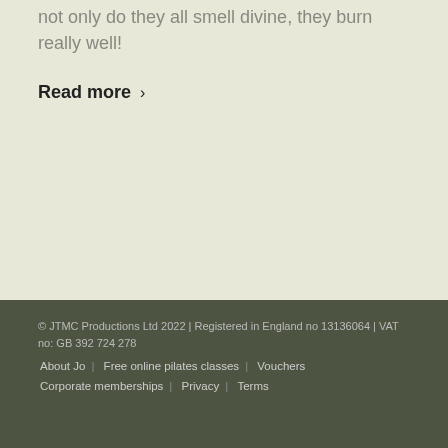not only do they all smell divine, they burn really well!
Read more ›
« 1 2 3 4 5 › »  Page 3 of 7
© JTMC Productions Ltd 2022 | Registered in England no 13136064 | VAT no: GB 392 724 278
About Jo | Free online pilates classes | Vouchers | Corporate memberships | Privacy | Terms